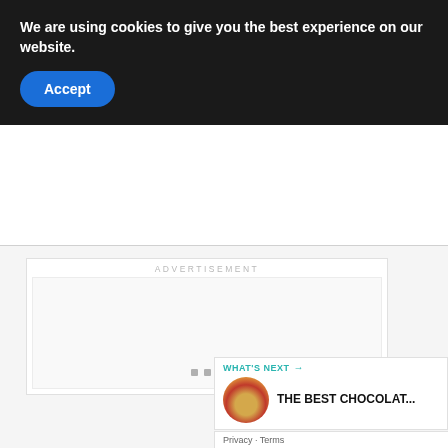We are using cookies to give you the best experience on our website.
Accept
ADVERTISEMENT
1
WHAT'S NEXT → THE BEST CHOCOLAT...
Privacy · Terms